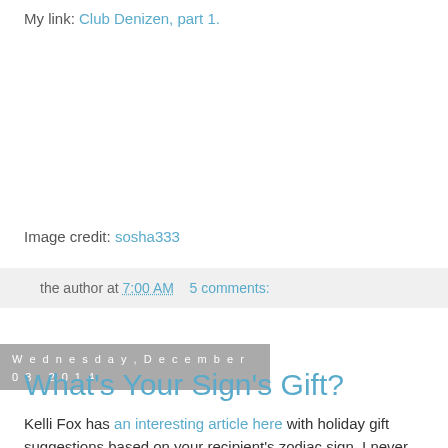My link: Club Denizen, part 1.
Image credit: sosha333
the author at 7:00 AM    5 comments:
Wednesday, December 03, 2014
What's Your Sign's Gift?
Kelli Fox has an interesting article here with holiday gift suggestions based on your recipient's zodiac sign. I never